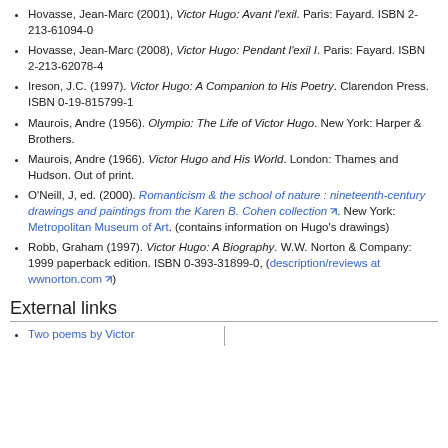Hovasse, Jean-Marc (2001), Victor Hugo: Avant l'exil. Paris: Fayard. ISBN 2-213-61094-0
Hovasse, Jean-Marc (2008), Victor Hugo: Pendant l'exil I. Paris: Fayard. ISBN 2-213-62078-4
Ireson, J.C. (1997). Victor Hugo: A Companion to His Poetry. Clarendon Press. ISBN 0-19-815799-1
Maurois, Andre (1956). Olympio: The Life of Victor Hugo. New York: Harper & Brothers.
Maurois, Andre (1966). Victor Hugo and His World. London: Thames and Hudson. Out of print.
O'Neill, J, ed. (2000). Romanticism & the school of nature : nineteenth-century drawings and paintings from the Karen B. Cohen collection. New York: Metropolitan Museum of Art. (contains information on Hugo's drawings)
Robb, Graham (1997). Victor Hugo: A Biography. W.W. Norton & Company: 1999 paperback edition. ISBN 0-393-31899-0, (description/reviews at wwnorton.com)
External links
Two poems by Victor